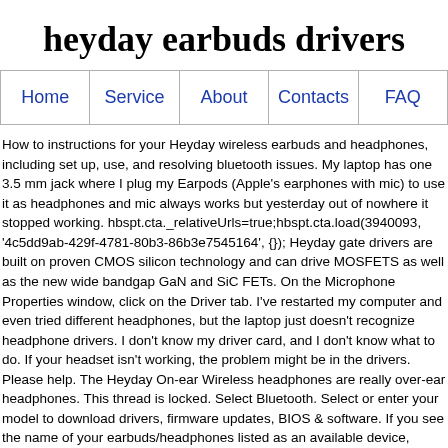heyday earbuds drivers
Home | Service | About | Contacts | FAQ
How to instructions for your Heyday wireless earbuds and headphones, including set up, use, and resolving bluetooth issues. My laptop has one 3.5 mm jack where I plug my Earpods (Apple's earphones with mic) to use it as headphones and mic always works but yesterday out of nowhere it stopped working. hbspt.cta._relativeUrls=true;hbspt.cta.load(3940093, '4c5dd9ab-429f-4781-80b3-86b3e7545164', {}); Heyday gate drivers are built on proven CMOS silicon technology and can drive MOSFETS as well as the new wide bandgap GaN and SiC FETs. On the Microphone Properties window, click on the Driver tab. I've restarted my computer and even tried different headphones, but the laptop just doesn't recognize headphone drivers. I don't know my driver card, and I don't know what to do. If your headset isn't working, the problem might be in the drivers. Please help. The Heyday On-ear Wireless headphones are really over-ear headphones. This thread is locked. Select Bluetooth. Select or enter your model to download drivers, firmware updates, BIOS & software. If you see the name of your earbuds/headphones listed as an available device, touch the name to the right of it and do not release your device for at the